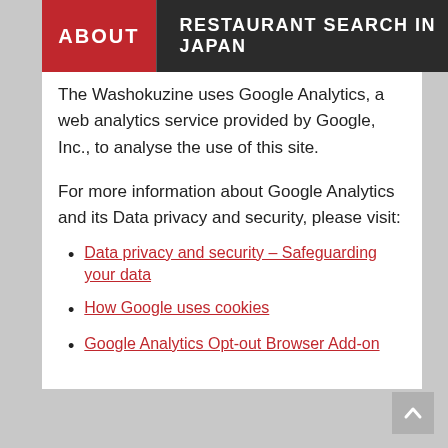ABOUT | RESTAURANT SEARCH IN JAPAN
The Washokuzine uses Google Analytics, a web analytics service provided by Google, Inc., to analyse the use of this site.
For more information about Google Analytics and its Data privacy and security, please visit:
Data privacy and security – Safeguarding your data
How Google uses cookies
Google Analytics Opt-out Browser Add-on